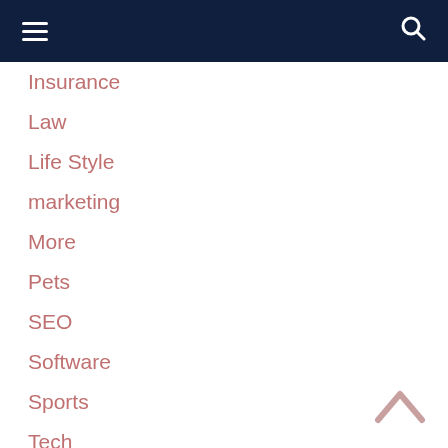Navigation menu with hamburger icon and search icon
Insurance
Law
Life Style
marketing
More
Pets
SEO
Software
Sports
Tech
Trading
Travel
Uncategorized